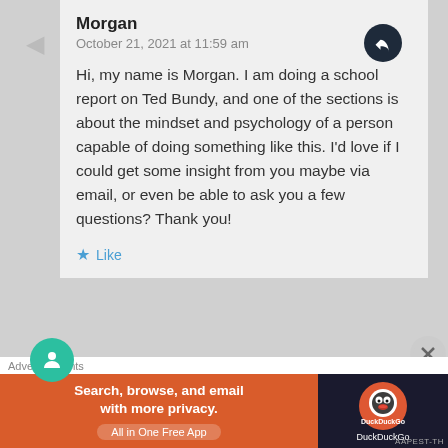Morgan
October 21, 2021 at 11:59 am
Hi, my name is Morgan. I am doing a school report on Ted Bundy, and one of the sections is about the mindset and psychology of a person capable of doing something like this. I'd love if I could get some insight from you maybe via email, or even be able to ask you a few questions? Thank you!
Like
E.J. Hammon
October 21, 2021 at 12:12 pm
Hi Morgan, thanks for reaching out! I'd be happy
Advertisements
[Figure (infographic): DuckDuckGo advertisement banner: orange background on left with text 'Search, browse, and email with more privacy. All in One Free App', dark background on right with DuckDuckGo logo]